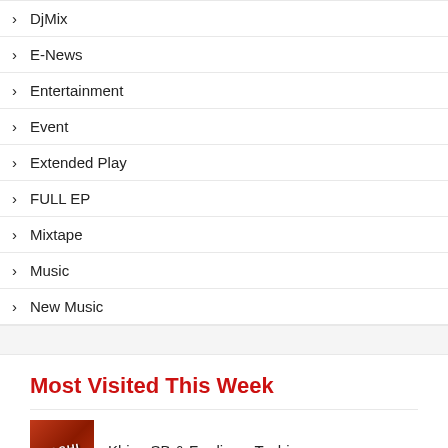DjMix
E-News
Entertainment
Event
Extended Play
FULL EP
Mixtape
Music
New Music
Most Visited This Week
Khing SB & Fredie — Tashi